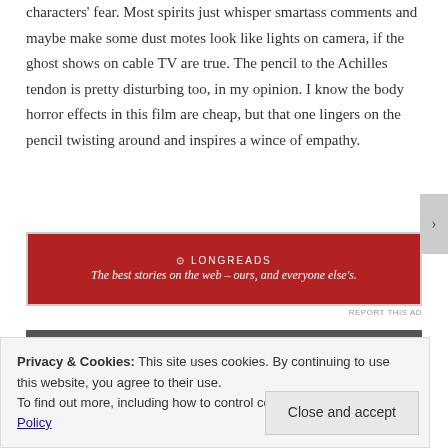characters' fear. Most spirits just whisper smartass comments and maybe make some dust motes look like lights on camera, if the ghost shows on cable TV are true. The pencil to the Achilles tendon is pretty disturbing too, in my opinion. I know the body horror effects in this film are cheap, but that one lingers on the pencil twisting around and inspires a wince of empathy.
[Figure (other): Red advertisement banner with Longreads logo and tagline: The best stories on the web – ours, and everyone else's.]
[Figure (screenshot): Dark video thumbnail strip partially visible.]
Privacy & Cookies: This site uses cookies. By continuing to use this website, you agree to their use. To find out more, including how to control cookies, see here: Cookie Policy